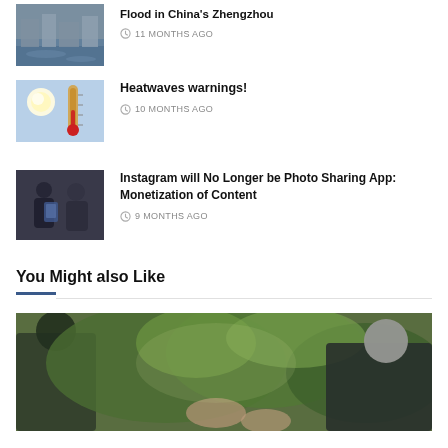[Figure (photo): Flood image thumbnail - partial at top]
Flood in China's Zhengzhou
11 MONTHS AGO
[Figure (photo): Heatwave - bright sun and thermometer]
Heatwaves warnings!
10 MONTHS AGO
[Figure (photo): People looking at phones - Instagram]
Instagram will No Longer be Photo Sharing App: Monetization of Content
9 MONTHS AGO
You Might also Like
[Figure (photo): People gardening outdoors, green plants, blurred background]